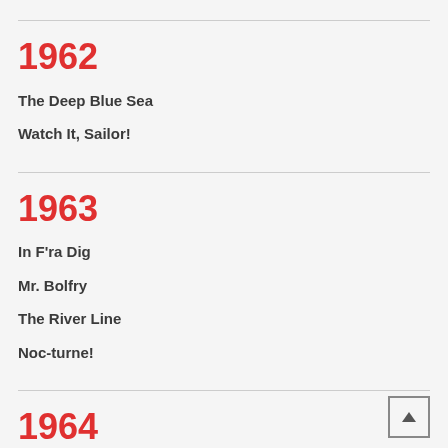1962
The Deep Blue Sea
Watch It, Sailor!
1963
In F'ra Dig
Mr. Bolfry
The River Line
Noc-turne!
1964